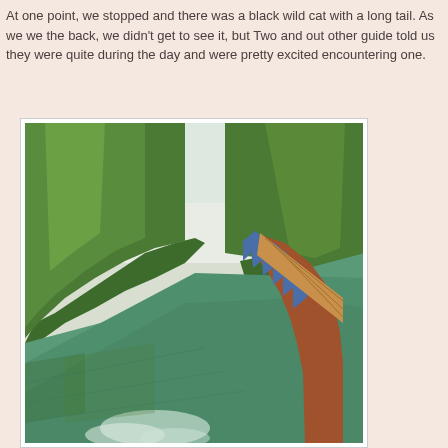At one point, we stopped and there was a black wild cat with a long tail. As we we the back, we didn't get to see it, but Two and out other guide told us they were quite during the day and were pretty excited encountering one.
[Figure (photo): View from the bow of a wooden long-tail boat traveling along a jungle river with lush green tropical forest on both sides, calm green water reflecting the trees, misty hills in the background.]